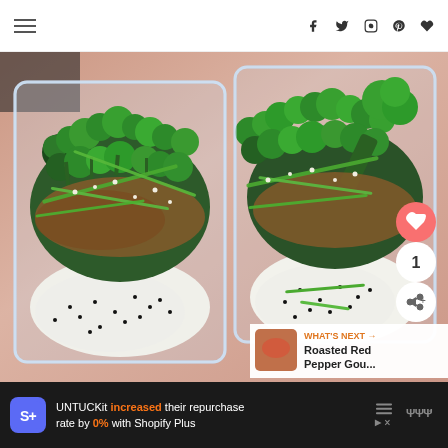Navigation header with hamburger menu and social icons (facebook, twitter, instagram, pinterest, heart)
[Figure (photo): Two glass meal-prep containers filled with teriyaki chicken or pork, white rice with black sesame seeds, roasted broccoli (broccolini), and chopped green onions, viewed from above on a pink cloth background]
WHAT'S NEXT → Roasted Red Pepper Gou...
UNTUCKit increased their repurchase rate by 0% with Shopify Plus